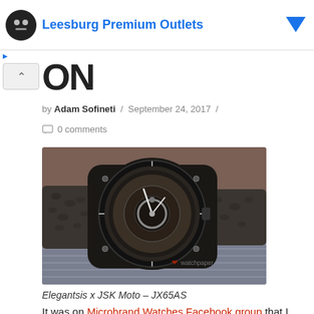Leesburg Premium Outlets
ON
by Adam Sofineti / September 24, 2017 /
0 comments
[Figure (photo): A dark-cased mechanical watch with a skeleton/open-heart dial showing internal movement, mounted on a grey/brown leather strap, photographed on a blue-grey surface. The watch is the Elegantsis x JSK Moto JX65AS.]
Elegantsis x JSK Moto – JX65AS
It was on Microbrand Watches Facebook group that I discovered this project that brings together Elegantsis, a Taiwan-